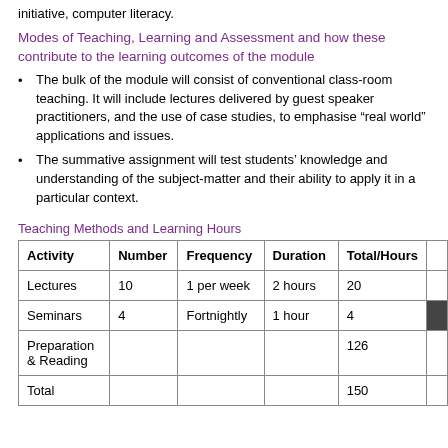initiative, computer literacy.
Modes of Teaching, Learning and Assessment and how these contribute to the learning outcomes of the module
The bulk of the module will consist of conventional class-room teaching. It will include lectures delivered by guest speaker practitioners, and the use of case studies, to emphasise “real world” applications and issues.
The summative assignment will test students’ knowledge and understanding of the subject-matter and their ability to apply it in a particular context.
Teaching Methods and Learning Hours
| Activity | Number | Frequency | Duration | Total/Hours |  |
| --- | --- | --- | --- | --- | --- |
| Lectures | 10 | 1 per week | 2 hours | 20 |  |
| Seminars | 4 | Fortnightly | 1 hour | 4 |  |
| Preparation & Reading |  |  |  | 126 |  |
| Total |  |  |  | 150 |  |